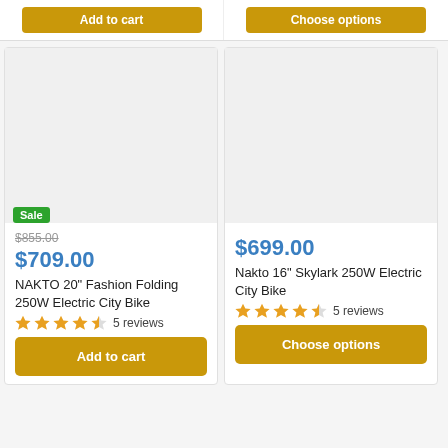Add to cart
Choose options
[Figure (photo): Product image placeholder for NAKTO 20" Fashion Folding 250W Electric City Bike with Sale badge]
$855.00 (strikethrough original price)
$709.00 (sale price)
NAKTO 20" Fashion Folding 250W Electric City Bike
4.5 stars, 5 reviews
Add to cart
[Figure (photo): Product image placeholder for Nakto 16" Skylark 250W Electric City Bike]
$699.00
Nakto 16" Skylark 250W Electric City Bike
4.5 stars, 5 reviews
Choose options